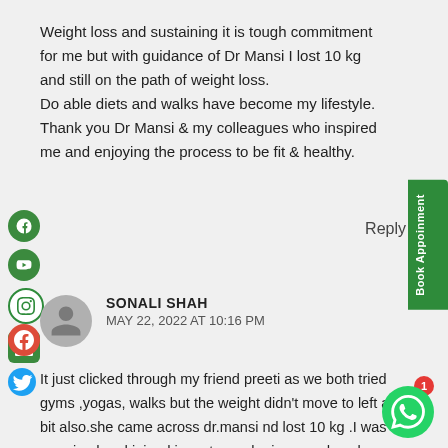Weight loss and sustaining it is tough commitment for me but with guidance of Dr Mansi I lost 10 kg and still on the path of weight loss.
Do able diets and walks have become my lifestyle.
Thank you Dr Mansi & my colleagues who inspired me and enjoying the process to be fit & healthy.
Reply
SONALI SHAH
MAY 22, 2022 AT 10:16 PM
It just clicked through my friend preeti as we both tried gyms ,yogas, walks but the weight didn't move to left a bit also.she came across dr.mansi nd lost 10 kg .I was surprised and joined.i must say she is a good package of psychiatrist an